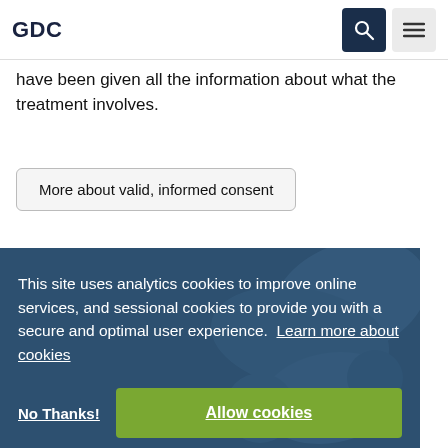GDC
have been given all the information about what the treatment involves.
More about valid, informed consent
This site uses analytics cookies to improve online services, and sessional cookies to provide you with a secure and optimal user experience.  Learn more about cookies
No Thanks!
Allow cookies